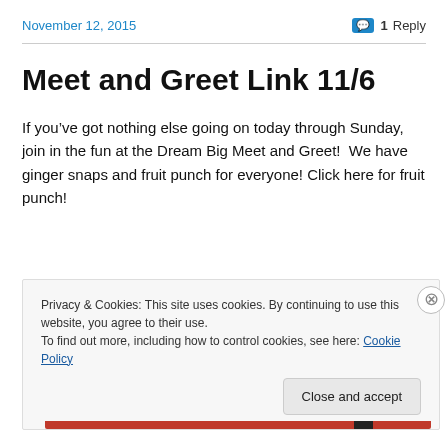November 12, 2015   1 Reply
Meet and Greet Link 11/6
If you’ve got nothing else going on today through Sunday, join in the fun at the Dream Big Meet and Greet!  We have ginger snaps and fruit punch for everyone! Click here for fruit punch!
Privacy & Cookies: This site uses cookies. By continuing to use this website, you agree to their use.
To find out more, including how to control cookies, see here: Cookie Policy